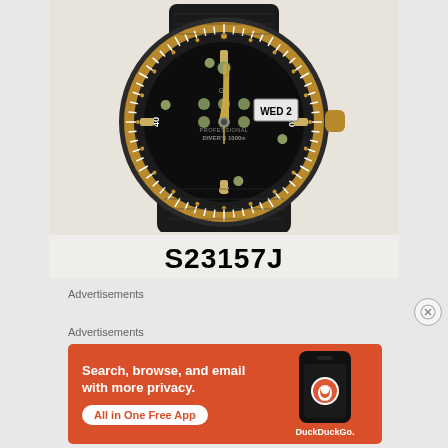[Figure (photo): Close-up photo of a Seiko professional diver's watch (model S23157J) with black case, gold-tone bezel with minute markings showing 20, 30, 40, black dial with luminous hour markers and hands, day-date window showing WED 2, and thick black rubber strap. The watch face shows 'GQ PROFESSIONAL DIVER'S 1000m'.]
S23157J
Advertisements
Advertisements
[Figure (screenshot): DuckDuckGo advertisement banner with orange background. Left side shows text 'Search, browse, and email with more privacy.' with a white pill button 'All in One Free App'. Right side shows a smartphone mockup with DuckDuckGo logo and brand name 'DuckDuckGo.']